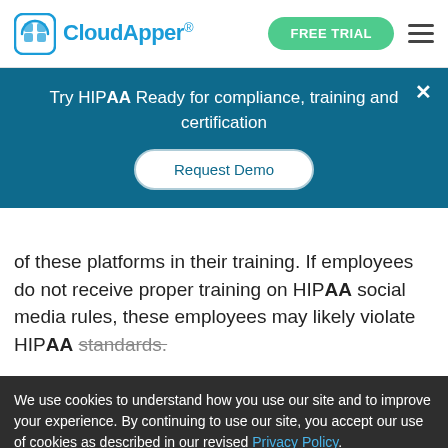CloudApper® FREE TRIAL
Try HIPAA Ready for compliance, training and certification
Request Demo
of these platforms in their training. If employees do not receive proper training on HIPAA social media rules, these employees may likely violate HIPAA standards.
We use cookies to understand how you use our site and to improve your experience. By continuing to use our site, you accept our use of cookies as described in our revised Privacy Policy.
ACCEPT